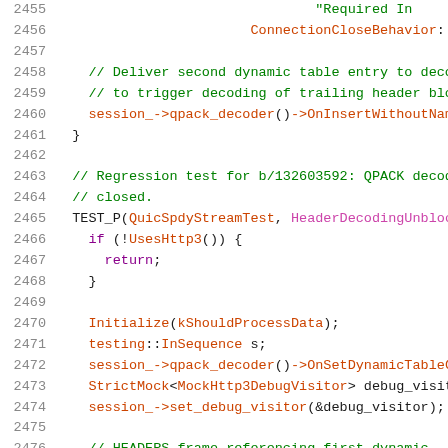Source code snippet, lines 2455-2476, C++ test code
2455: "Required In
2456: ConnectionCloseBehavior::
2457: (blank)
2458: // Deliver second dynamic table entry to deco
2459: // to trigger decoding of trailing header blo
2460: session_->qpack_decoder()->OnInsertWithoutNam
2461: }
2462: (blank)
2463: // Regression test for b/132603592: QPACK decod
2464: // closed.
2465: TEST_P(QuicSpdyStreamTest, HeaderDecodingUnbloc
2466: if (!UsesHttp3()) {
2467: return;
2468: }
2469: (blank)
2470: Initialize(kShouldProcessData);
2471: testing::InSequence s;
2472: session_->qpack_decoder()->OnSetDynamicTableC
2473: StrictMock<MockHttp3DebugVisitor> debug_visit
2474: session_->set_debug_visitor(&debug_visitor);
2475: (blank)
2476: // HEADERS frame referencing first dynamic